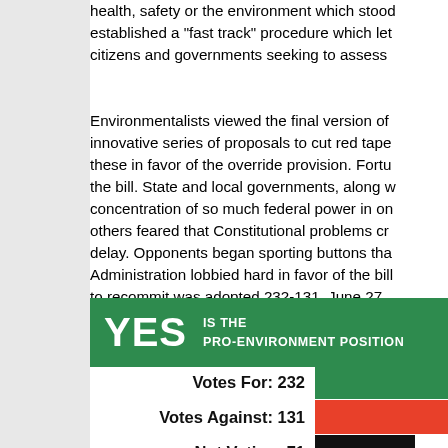health, safety or the environment which stood... established a "fast track" procedure which let... citizens and governments seeking to assess...
Environmentalists viewed the final version of... innovative series of proposals to cut red tape... these in favor of the override provision. Fortu... the bill. State and local governments, along w... concentration of so much federal power in on... others feared that Constitutional problems cr... delay. Opponents began sporting buttons tha... Administration lobbied hard in favor of the bill... to recommit was adopted 232-131. June 27,
[Figure (infographic): Green banner reading YES IS THE PRO-ENVIRONMENT POSITION]
Votes For: 232
Votes Against: 131
Not Voting: 71